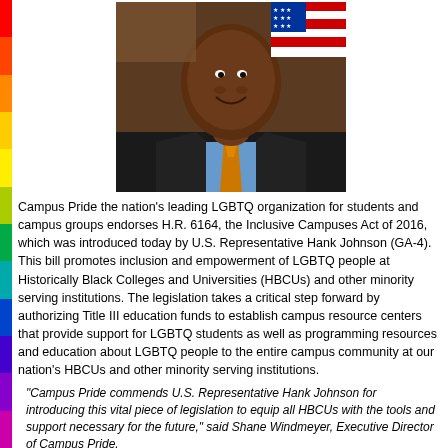[Figure (photo): Headshot of U.S. Representative Hank Johnson, an African American man in a dark suit with a blue shirt and orange/gold tie, smiling, with an American flag in the background.]
Campus Pride the nation's leading LGBTQ organization for students and campus groups endorses H.R. 6164, the Inclusive Campuses Act of 2016, which was introduced today by U.S. Representative Hank Johnson (GA-4). This bill promotes inclusion and empowerment of LGBTQ people at Historically Black Colleges and Universities (HBCUs) and other minority serving institutions. The legislation takes a critical step forward by authorizing Title III education funds to establish campus resource centers that provide support for LGBTQ students as well as programming resources and education about LGBTQ people to the entire campus community at our nation's HBCUs and other minority serving institutions.
"Campus Pride commends U.S. Representative Hank Johnson for introducing this vital piece of legislation to equip all HBCUs with the tools and support necessary for the future," said Shane Windmeyer, Executive Director of Campus Pride. "Campus Pride the last six years has continued to build networks, collective partnerships and provide support at a growing number of HBCUs.   This Fall we selected three HBCUs for our Southern Region HBCU Sports Inclusion Summit,